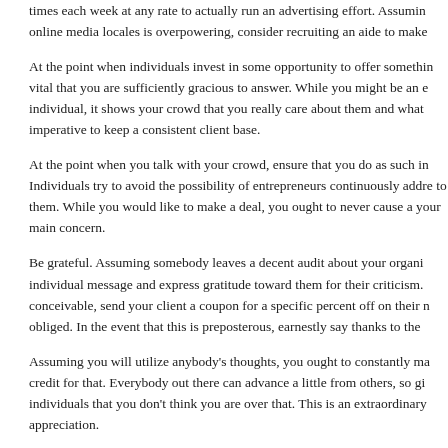times each week at any rate to actually run an advertising effort. Assuming online media locales is overpowering, consider recruiting an aide to make
At the point when individuals invest in some opportunity to offer something vital that you are sufficiently gracious to answer. While you might be an individual, it shows your crowd that you really care about them and what imperative to keep a consistent client base.
At the point when you talk with your crowd, ensure that you do as such in Individuals try to avoid the possibility of entrepreneurs continuously addressing to them. While you would like to make a deal, you ought to never cause your main concern.
Be grateful. Assuming somebody leaves a decent audit about your organization individual message and express gratitude toward them for their criticism. conceivable, send your client a coupon for a specific percent off on their obliged. In the event that this is preposterous, earnestly say thanks to the
Assuming you will utilize anybody's thoughts, you ought to constantly make credit for that. Everybody out there can advance a little from others, so give individuals that you don't think you are over that. This is an extraordinary appreciation.
Posted in  Uncategorized